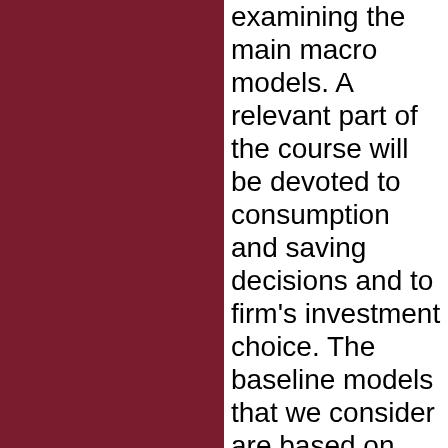examining the main macro models. A relevant part of the course will be devoted to consumption and saving decisions and to firm's investment choice. The baseline models that we consider are based on the optimal